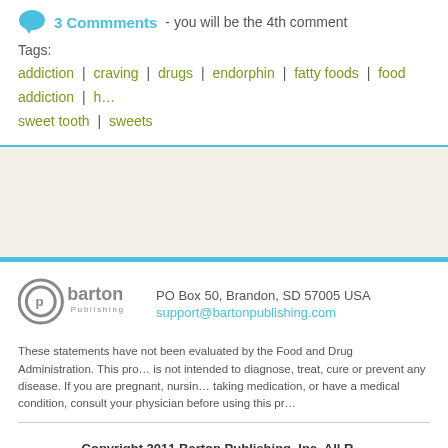3 Commments - you will be the 4th comment
Tags: addiction | craving | drugs | endorphin | fatty foods | food addiction | h... sweet tooth | sweets
[Figure (other): Light beige/cream colored advertisement or content block]
[Figure (logo): Barton Publishing logo - circular P icon with 'barton Publishing' text]
PO Box 50, Brandon, SD 57005 USA
support@bartonpublishing.com
These statements have not been evaluated by the Food and Drug Administration. This pro... is not intended to diagnose, treat, cure or prevent any disease. If you are pregnant, nursin... taking medication, or have a medical condition, consult your physician before using this pr...
Copyright 2011 Barton Publishing, Inc. All R...